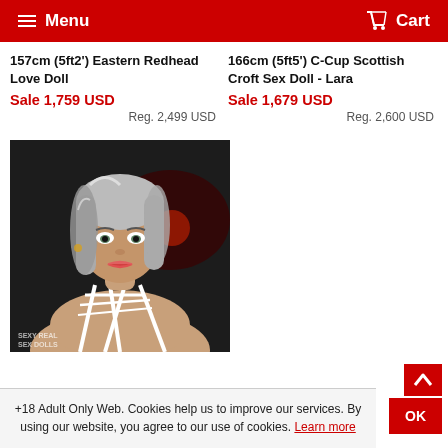Menu  Cart
157cm (5ft2') Eastern Redhead Love Doll
Sale 1,759 USD
Reg. 2,499 USD
166cm (5ft5') C-Cup Scottish Croft Sex Doll - Lara
Sale 1,679 USD
Reg. 2,600 USD
[Figure (photo): Product photo of a realistic doll with grey/silver hair, wearing a white strappy top, against a dark background. Watermark reads SEXY REAL SEX DOLLS.]
+18 Adult Only Web. Cookies help us to improve our services. By using our website, you agree to our use of cookies. Learn more